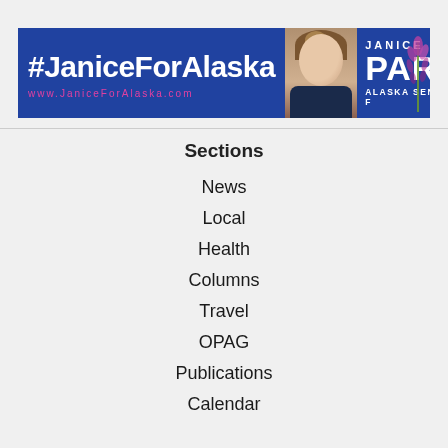[Figure (illustration): Campaign banner for Janice Park, Alaska Senate candidate. Blue background with white bold text '#JaniceForAlaska', pink text 'www.JaniceForAlaska.com', a photo of Janice Park smiling, and right side panel with 'JANICE PARK ALASKA SENATE F' and 'VOTE' text with floral decoration.]
Sections
News
Local
Health
Columns
Travel
OPAG
Publications
Calendar